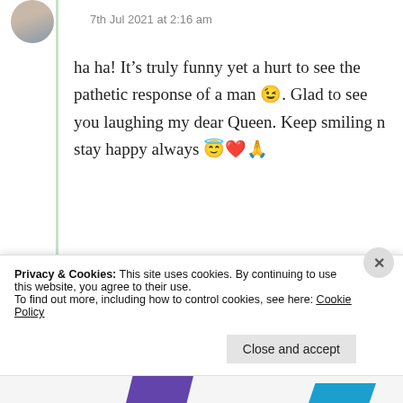7th Jul 2021 at 2:16 am
ha ha! It's truly funny yet a hurt to see the pathetic response of a man 😉. Glad to see you laughing my dear Queen. Keep smiling n stay happy always 😇❤️🙏
★ Liked by 1 person
Log in to Reply
Privacy & Cookies: This site uses cookies. By continuing to use this website, you agree to their use.
To find out more, including how to control cookies, see here: Cookie Policy
Close and accept